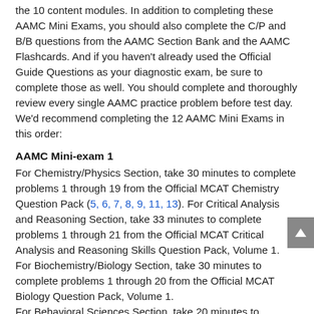the 10 content modules. In addition to completing these AAMC Mini Exams, you should also complete the C/P and B/B questions from the AAMC Section Bank and the AAMC Flashcards. And if you haven't already used the Official Guide Questions as your diagnostic exam, be sure to complete those as well. You should complete and thoroughly review every single AAMC practice problem before test day. We'd recommend completing the 12 AAMC Mini Exams in this order:
AAMC Mini-exam 1
For Chemistry/Physics Section, take 30 minutes to complete problems 1 through 19 from the Official MCAT Chemistry Question Pack (5, 6, 7, 8, 9, 11, 13). For Critical Analysis and Reasoning Section, take 33 minutes to complete problems 1 through 21 from the Official MCAT Critical Analysis and Reasoning Skills Question Pack, Volume 1. For Biochemistry/Biology Section, take 30 minutes to complete problems 1 through 20 from the Official MCAT Biology Question Pack, Volume 1. For Behavioral Sciences Section, take 20 minutes to